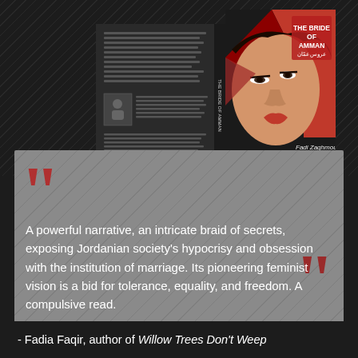[Figure (illustration): Book cover of 'The Bride of Amman' by Fadi Zaghmout, showing a stylized illustration of a woman's face with geometric shapes in red, black and cream tones. Arabic subtitle 'عروس عمّان' shown. Both front cover and back/spine visible.]
A powerful narrative, an intricate braid of secrets, exposing Jordanian society's hypocrisy and obsession with the institution of marriage. Its pioneering feminist vision is a bid for tolerance, equality, and freedom. A compulsive read.
- Fadia Faqir, author of Willow Trees Don't Weep